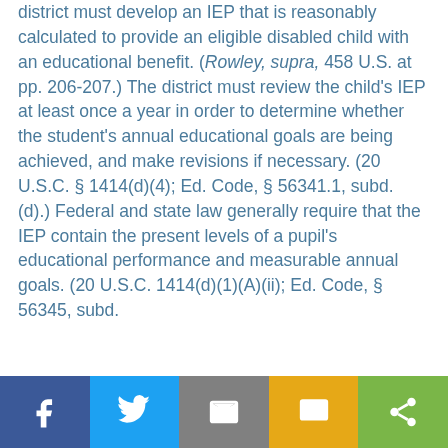district must develop an IEP that is reasonably calculated to provide an eligible disabled child with an educational benefit. (Rowley, supra, 458 U.S. at pp. 206-207.) The district must review the child's IEP at least once a year in order to determine whether the student's annual educational goals are being achieved, and make revisions if necessary. (20 U.S.C. § 1414(d)(4); Ed. Code, § 56341.1, subd. (d).) Federal and state law generally require that the IEP contain the present levels of a pupil's educational performance and measurable annual goals. (20 U.S.C. 1414(d)(1)(A)(ii); Ed. Code, § 56345, subd.
[Figure (infographic): Social sharing bar with Facebook, Twitter, Email, SMS, and Share buttons]